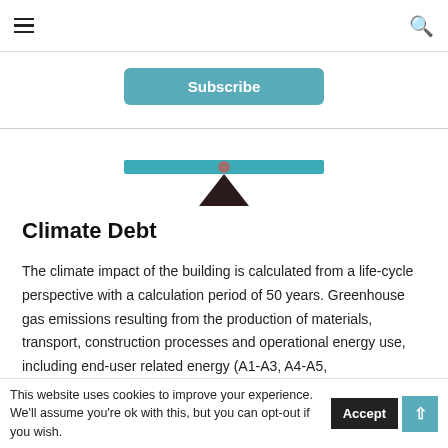≡  [hamburger menu]  [search icon]
Subscribe
[Figure (illustration): A balanced seesaw/balance illustration with a teal horizontal bar balanced on a dark triangular fulcrum with a circular pivot point.]
Climate Debt
The climate impact of the building is calculated from a life-cycle perspective with a calculation period of 50 years. Greenhouse gas emissions resulting from the production of materials, transport, construction processes and operational energy use, including end-user related energy (A1-A3, A4-A5,
This website uses cookies to improve your experience. We'll assume you're ok with this, but you can opt-out if you wish.